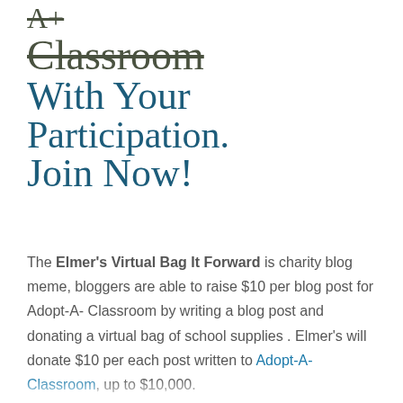Classroom With Your Participation. Join Now!
The Elmer's Virtual Bag It Forward is charity blog meme, bloggers are able to raise $10 per blog post for Adopt-A-Classroom by writing a blog post and donating a virtual bag of school supplies . Elmer's will donate $10 per each post written to Adopt-A-Classroom, up to $10,000.